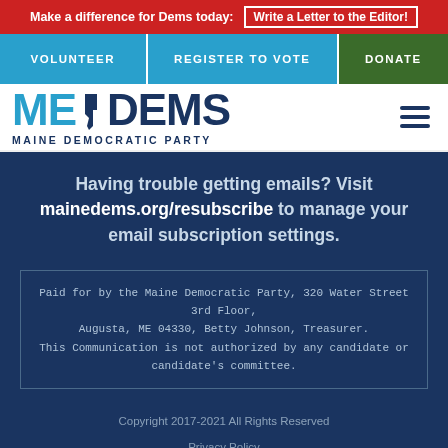Make a difference for Dems today: Write a Letter to the Editor!
VOLUNTEER | REGISTER TO VOTE | DONATE
[Figure (logo): ME DEMS - Maine Democratic Party logo with hamburger menu icon]
Having trouble getting emails? Visit mainedems.org/resubscribe to manage your email subscription settings.
Paid for by the Maine Democratic Party, 320 Water Street 3rd Floor, Augusta, ME 04330, Betty Johnson, Treasurer. This Communication is not authorized by any candidate or candidate's committee.
Copyright 2017-2021 All Rights Reserved
Privacy Policy